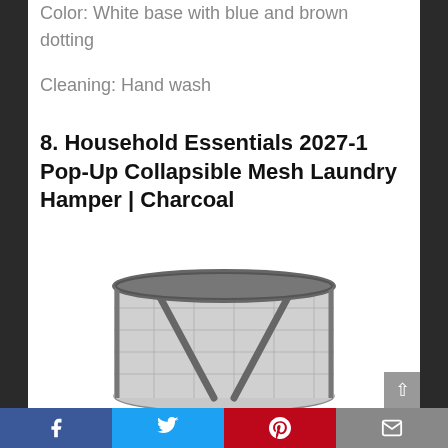Color: White base with blue and brown dotting
Cleaning: Hand wash
8. Household Essentials 2027-1 Pop-Up Collapsible Mesh Laundry Hamper | Charcoal
[Figure (photo): A charcoal/gray collapsible mesh laundry hamper with dark gray frame straps, cylindrical shape, partially visible at bottom of page]
Social share bar: Facebook, Twitter, Pinterest, Email